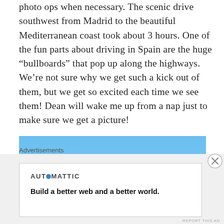photo ops when necessary. The scenic drive southwest from Madrid to the beautiful Mediterranean coast took about 3 hours. One of the fun parts about driving in Spain are the huge “bullboards” that pop up along the highways. We’re not sure why we get such a kick out of them, but we get so excited each time we see them! Dean will wake me up from a nap just to make sure we get a picture!
[Figure (photo): A photo showing a clear blue sky with a diagonal line (road or horizon) near the bottom, suggesting a highway or roadside view.]
Advertisements
AUTOMATTIC
Build a better web and a better world.